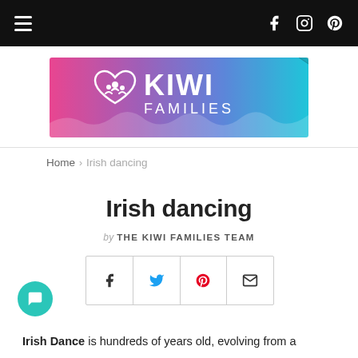Navigation bar with hamburger menu and social icons (Facebook, Instagram, Pinterest)
[Figure (logo): Kiwi Families banner logo with gradient pink-purple-blue background and white text reading KIWI FAMILIES with a stylized heart/family silhouette icon]
Home > Irish dancing
Irish dancing
by THE KIWI FAMILIES TEAM
[Figure (infographic): Social share buttons row: Facebook, Twitter, Pinterest, Email (envelope icon)]
Irish Dance is hundreds of years old, evolving from a